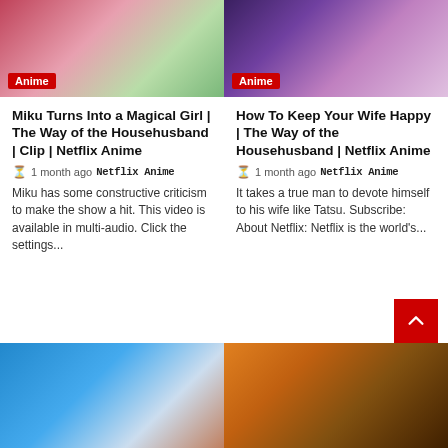[Figure (screenshot): Anime thumbnail showing magical girl character with white bird, red badge labeled Anime]
[Figure (screenshot): Anime thumbnail showing characters laughing, red badge labeled Anime]
Miku Turns Into a Magical Girl | The Way of the Househusband | Clip | Netflix Anime
1 month ago  NetflixAnime
Miku has some constructive criticism to make the show a hit. This video is available in multi-audio. Click the settings...
How To Keep Your Wife Happy | The Way of the Househusband | Netflix Anime
1 month ago  NetflixAnime
It takes a true man to devote himself to his wife like Tatsu. Subscribe: About Netflix: Netflix is the world's...
[Figure (screenshot): Anime thumbnail showing character with glasses in blue/urban setting]
[Figure (screenshot): Anime thumbnail showing muscular character in yellow and black suit on orange background]